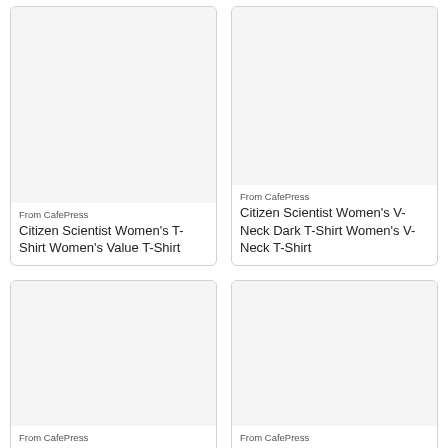[Figure (photo): Product image placeholder for Citizen Scientist Women's T-Shirt]
From CafePress
Citizen Scientist Women's T-Shirt Women's Value T-Shirt
[Figure (photo): Product image placeholder for Citizen Scientist Women's V-Neck Dark T-Shirt]
From CafePress
Citizen Scientist Women's V-Neck Dark T-Shirt Women's V-Neck T-Shirt
[Figure (photo): Product image placeholder - bottom left card]
From CafePress
[Figure (photo): Product image placeholder - bottom right card]
From CafePress